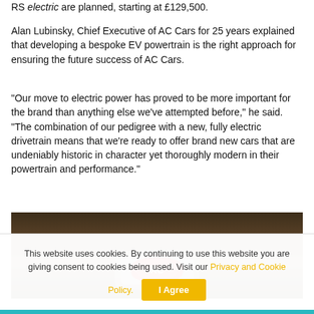RS electric are planned, starting at £129,500.
Alan Lubinsky, Chief Executive of AC Cars for 25 years explained that developing a bespoke EV powertrain is the right approach for ensuring the future success of AC Cars.
“Our move to electric power has proved to be more important for the brand than anything else we’ve attempted before,” he said. “The combination of our pedigree with a new, fully electric drivetrain means that we’re ready to offer brand new cars that are undeniably historic in character yet thoroughly modern in their powertrain and performance.”
[Figure (photo): Rear view of a classic AC car badge/emblem showing a red and silver design, photographed from behind the car outdoors]
This website uses cookies. By continuing to use this website you are giving consent to cookies being used. Visit our Privacy and Cookie Policy.